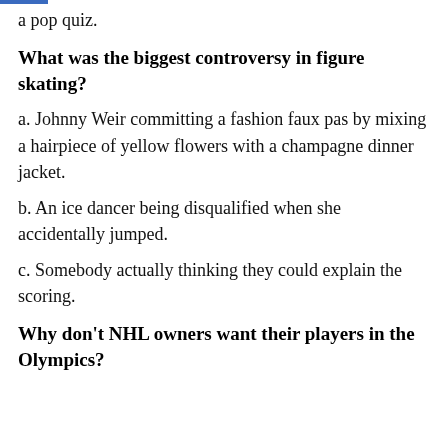a pop quiz.
What was the biggest controversy in figure skating?
a. Johnny Weir committing a fashion faux pas by mixing a hairpiece of yellow flowers with a champagne dinner jacket.
b. An ice dancer being disqualified when she accidentally jumped.
c. Somebody actually thinking they could explain the scoring.
Why don't NHL owners want their players in the Olympics?